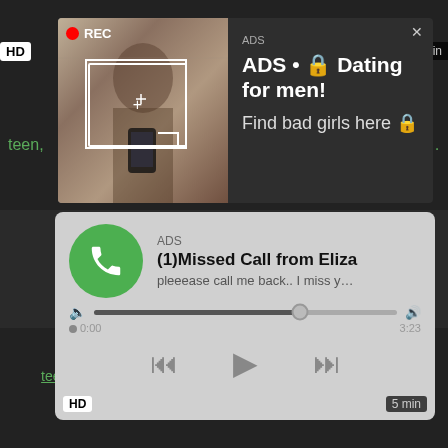[Figure (screenshot): Dark background video player strip at top with HD badge on left and 'min' on right, green link text 'teen,' on left and 'suc...' on right]
[Figure (screenshot): Pop-up advertisement overlay with woman taking selfie photo, REC indicator, white focus box. Text: ADS • Dating for men! Find bad girls here]
[Figure (screenshot): Audio ad widget on grey background showing WhatsApp-style missed call: ADS, (1)Missed Call from Eliza, pleeease call me back.. I miss y..., with progress bar showing 0:00 to 3:23, and player controls (rewind, play, fast-forward), HD badge and 5 min label]
Sexual Massage Teen Hardcore Oiled
teen, hardcore, oiled, blowjob, rough sex, porn movies, h...